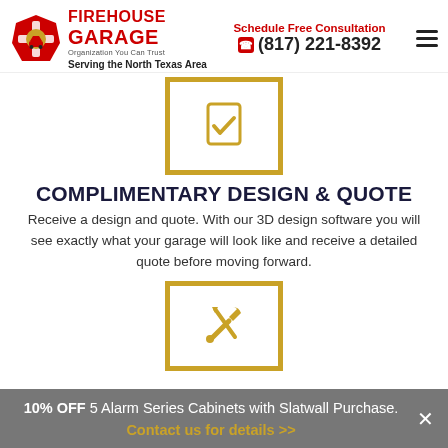[Figure (logo): Firehouse Garage logo with red emblem, red FIREHOUSE GARAGE text, tagline 'Organization You Can Trust', subtitle 'Serving the North Texas Area']
Schedule Free Consultation
☎ (817) 221-8392
[Figure (illustration): Gold-bordered square box with a gold checkmark/document icon inside]
COMPLIMENTARY DESIGN & QUOTE
Receive a design and quote. With our 3D design software you will see exactly what your garage will look like and receive a detailed quote before moving forward.
[Figure (illustration): Gold-bordered square box with a gold wrench/tools icon inside, partially visible]
10% OFF 5 Alarm Series Cabinets with Slatwall Purchase.
Contact us for details >>